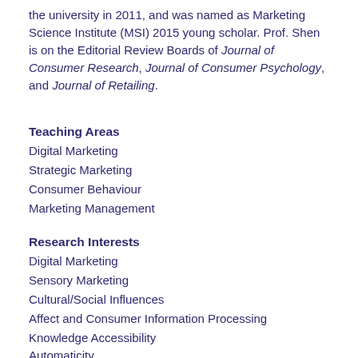the university in 2011, and was named as Marketing Science Institute (MSI) 2015 young scholar. Prof. Shen is on the Editorial Review Boards of Journal of Consumer Research, Journal of Consumer Psychology, and Journal of Retailing.
Teaching Areas
Digital Marketing
Strategic Marketing
Consumer Behaviour
Marketing Management
Research Interests
Digital Marketing
Sensory Marketing
Cultural/Social Influences
Affect and Consumer Information Processing
Knowledge Accessibility
Automaticity
Culture